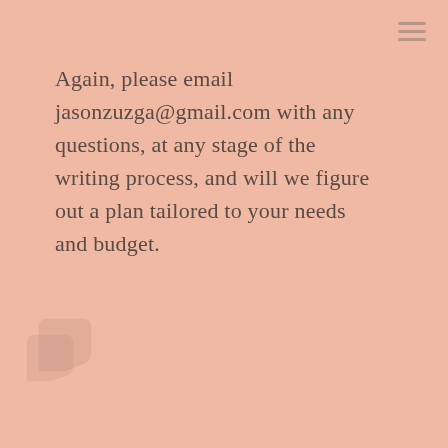Again, please email jasonzuzga@gmail.com with any questions, at any stage of the writing process, and will we figure out a plan tailored to your needs and budget.